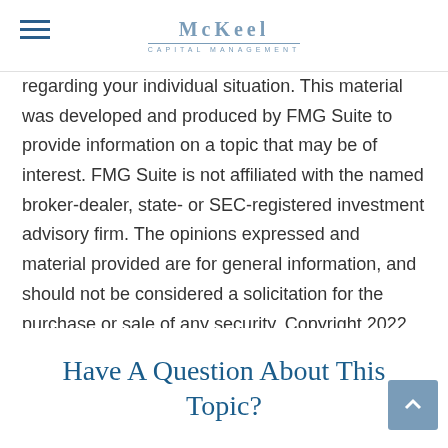McKeel Capital Management
regarding your individual situation. This material was developed and produced by FMG Suite to provide information on a topic that may be of interest. FMG Suite is not affiliated with the named broker-dealer, state- or SEC-registered investment advisory firm. The opinions expressed and material provided are for general information, and should not be considered a solicitation for the purchase or sale of any security. Copyright 2022 FMG Suite.
Share |
Have A Question About This Topic?